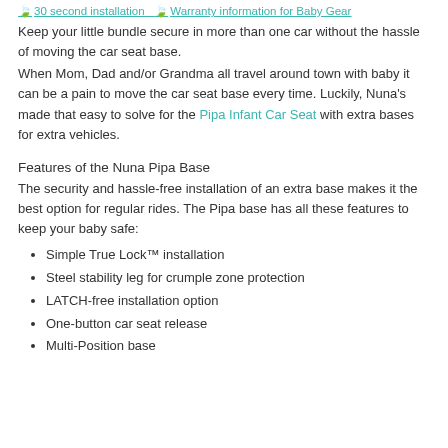30 second installation  Warranty information for Baby Gear
Keep your little bundle secure in more than one car without the hassle of moving the car seat base.
When Mom, Dad and/or Grandma all travel around town with baby it can be a pain to move the car seat base every time. Luckily, Nuna's made that easy to solve for the Pipa Infant Car Seat with extra bases for extra vehicles.
Features of the Nuna Pipa Base
The security and hassle-free installation of an extra base makes it the best option for regular rides. The Pipa base has all these features to keep your baby safe:
Simple True Lock™ installation
Steel stability leg for crumple zone protection
LATCH-free installation option
One-button car seat release
Multi-Position base